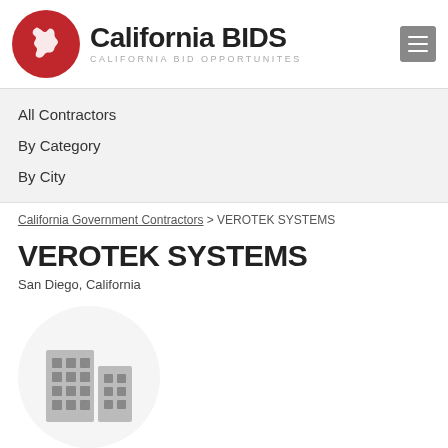California BIDS — CALIFORNIA BID OPPORTUNITES
All Contractors
By Category
By City
California Government Contractors > VEROTEK SYSTEMS
VEROTEK SYSTEMS
San Diego, California
[Figure (logo): Building/company placeholder icon inside a white circle on light grey background]